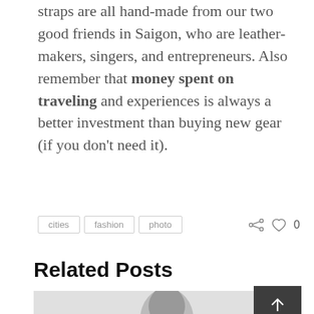straps are all hand-made from our two good friends in Saigon, who are leather-makers, singers, and entrepreneurs. Also remember that money spent on traveling and experiences is always a better investment than buying new gear (if you don't need it).
cities  fashion  photo   ♥ 0
Related Posts
[Figure (photo): Partial photo showing a person's head (black and white), cropped at bottom of page, with a dark back-to-top button with upward arrow in bottom right corner.]